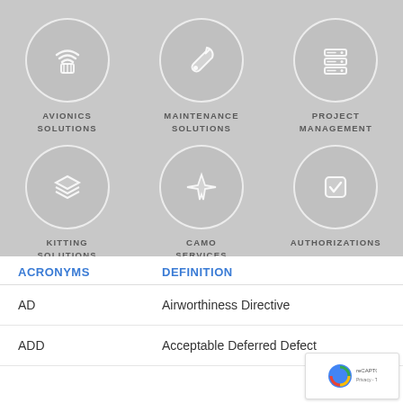[Figure (infographic): Six service category icons in a 3x2 grid on gray background: Avionics Solutions (wifi/card icon), Maintenance Solutions (wrench icon), Project Management (server/database icon), Kitting Solutions (layers icon), CAMO Services (airplane icon), Authorizations (checkbox icon). Each icon is inside a white-bordered circle.]
| ACRONYMS | DEFINITION |
| --- | --- |
| AD | Airworthiness Directive |
| ADD | Acceptable Deferred Defect |